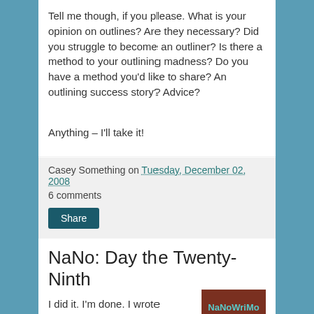Tell me though, if you please. What is your opinion on outlines? Are they necessary? Did you struggle to become an outliner? Is there a method to your outlining madness? Do you have a method you'd like to share? An outlining success story? Advice?
Anything – I'll take it!
Casey Something on Tuesday, December 02, 2008
6 comments
NaNo: Day the Twenty-Ninth
I did it. I'm done. I wrote